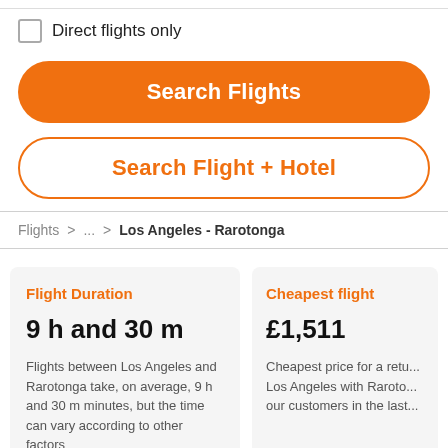Direct flights only
Search Flights
Search Flight + Hotel
Flights > ... > Los Angeles - Rarotonga
Flight Duration
9 h and 30 m
Flights between Los Angeles and Rarotonga take, on average, 9 h and 30 m minutes, but the time can vary according to other factors
Cheapest flight
£1,511
Cheapest price for a retu... Los Angeles with Raroto... our customers in the last...